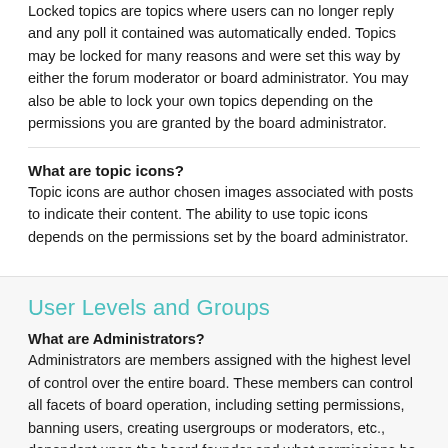Locked topics are topics where users can no longer reply and any poll it contained was automatically ended. Topics may be locked for many reasons and were set this way by either the forum moderator or board administrator. You may also be able to lock your own topics depending on the permissions you are granted by the board administrator.
What are topic icons?
Topic icons are author chosen images associated with posts to indicate their content. The ability to use topic icons depends on the permissions set by the board administrator.
User Levels and Groups
What are Administrators?
Administrators are members assigned with the highest level of control over the entire board. These members can control all facets of board operation, including setting permissions, banning users, creating usergroups or moderators, etc., dependent upon the board founder and what permissions be